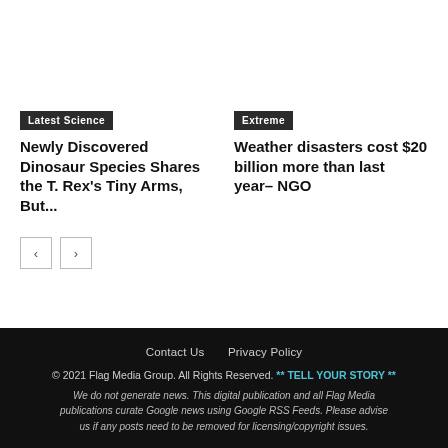Latest Science
Newly Discovered Dinosaur Species Shares the T. Rex's Tiny Arms, But...
Extreme
Weather disasters cost $20 billion more than last year– NGO
Contact Us   Privacy Policy
© 2021 Flag Media Group. All Rights Reserved. ** TELL YOUR STORY **
We do not generate news. This digital publication and all Flag Media publications curate Google news using Google RSS Feeds. Please advise us if any posts need to be removed for licensing/copyright issues.